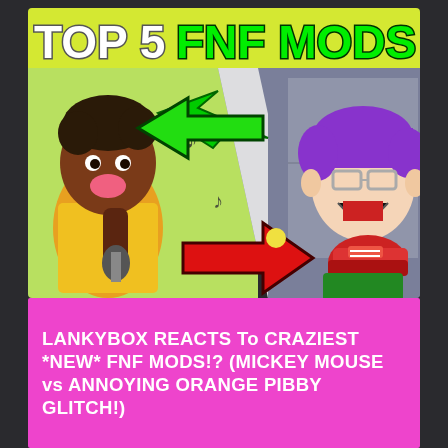[Figure (illustration): YouTube video thumbnail showing 'TOP 5 FNF MODS' text on a yellow-green banner at top. Left side shows a cartoon character (dark-skinned boy with yellow shirt holding a microphone, tongue out) with musical notes and a large red right-pointing arrow. Center shows a large green left-pointing arrow. Right side shows a real person (Asian male with purple hair, glasses, laughing/reacting, holding red sneakers) in front of a gray background. The FNF Friday Night Funkin game arrows are overlaid.]
LANKYBOX REACTS To CRAZIEST *NEW* FNF MODS!? (MICKEY MOUSE vs ANNOYING ORANGE PIBBY GLITCH!)